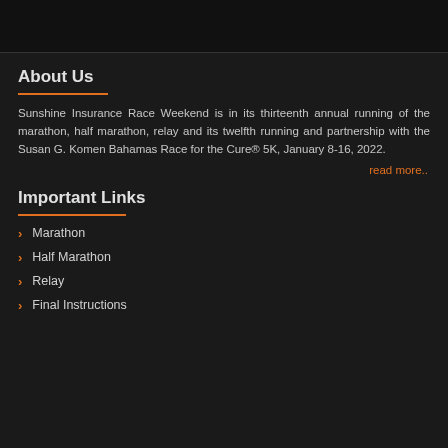About Us
Sunshine Insurance Race Weekend is in its thirteenth annual running of the marathon, half marathon, relay and its twelfth running and partnership with the Susan G. Komen Bahamas Race for the Cure® 5K, January 8-16, 2022.
read more..
Important Links
Marathon
Half Marathon
Relay
Final Instructions